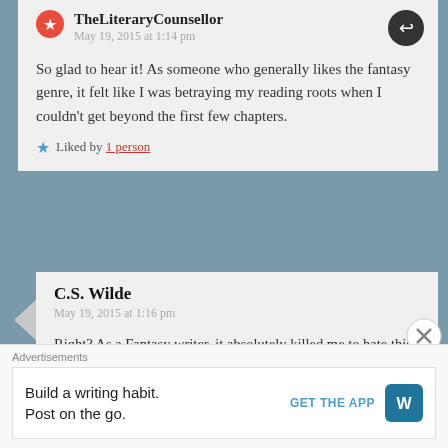TheLiteraryCounsellor
May 19, 2015 at 1:14 pm
So glad to hear it! As someone who generally likes the fantasy genre, it felt like I was betraying my reading roots when I couldn't get beyond the first few chapters.
Liked by 1 person
C.S. Wilde
May 19, 2015 at 1:16 pm
Right? As a Fantasy writer, it absolutely killed me to hate this book as much as I did (because
Advertisements
Build a writing habit. Post on the go.
GET THE APP